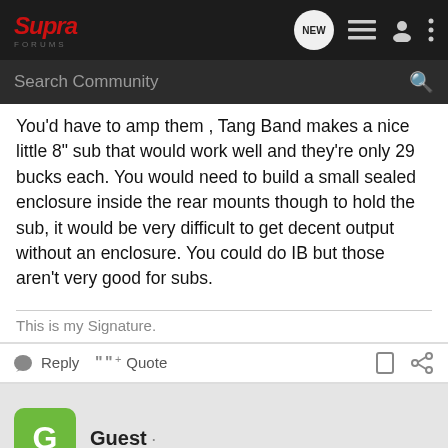SupraForums - NEW | list | user | menu icons | Search Community
You'd have to amp them , Tang Band makes a nice little 8" sub that would work well and they're only 29 bucks each. You would need to build a small sealed enclosure inside the rear mounts though to hold the sub, it would be very difficult to get decent output without an enclosure. You could do IB but those aren't very good for subs.
This is my Signature.
Reply   Quote
Guest ·